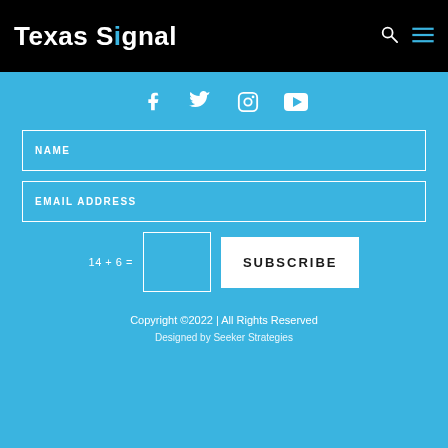Texas Signal
[Figure (other): Social media icons: Facebook, Twitter, Instagram, YouTube]
NAME
EMAIL ADDRESS
14 + 6 =
SUBSCRIBE
Copyright ©2022 | All Rights Reserved
Designed by Seeker Strategies